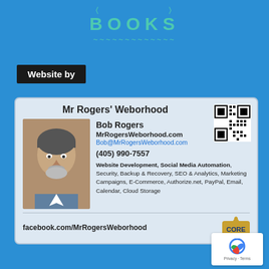[Figure (illustration): Partial text 'BOOKS' in teal decorative font at top of page]
Website by
[Figure (infographic): Business card for Mr Rogers' Weborhood featuring Bob Rogers. Contains photo of man, contact info: MrRogersWeborhood.com, Bob@MrRogersWeborhood.com, (405) 990-7557, services list, facebook.com/MrRogersWeborhood, QR code, and CORE logo]
[Figure (logo): Google reCAPTCHA badge with Privacy and Terms links]